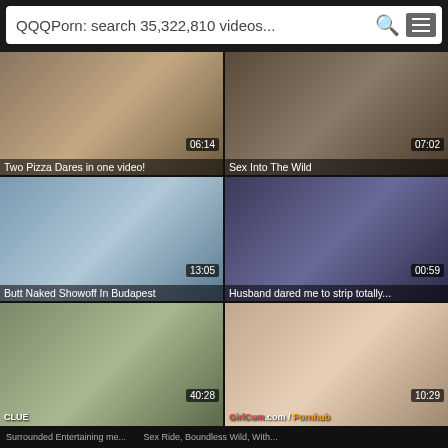QQQPorn: search 35,322,810 videos...
[Figure (screenshot): Video thumbnail - Two Pizza Dares in one video!, duration 06:14]
[Figure (screenshot): Video thumbnail - Sex Into The Wild, duration 07:02]
[Figure (screenshot): Video thumbnail - Butt Naked Showoff In Budapest, duration 13:05]
[Figure (screenshot): Video thumbnail - Husband dared me to strip totally..., duration 00:59]
[Figure (screenshot): Video thumbnail - bottom left, watermark CLUE, duration 40:28]
[Figure (screenshot): Video thumbnail - bottom right, watermark GirlCum.com / Pornhub, duration 10:29]
Surrounded Entertaining me... | Sex Ride, Boundless Wild, With...